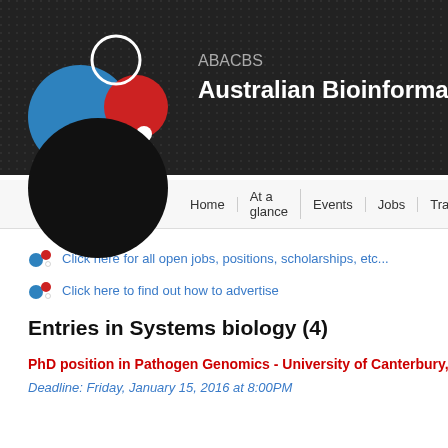[Figure (logo): ABACBS logo with blue circle, red circle, white circle, and small white dot on dark background]
ABACBS
Australian Bioinformatics Netwo
Home | At a glance | Events | Jobs | Training
Click here for all open jobs, positions, scholarships, etc...
Click here to find out how to advertise
Entries in Systems biology (4)
PhD position in Pathogen Genomics - University of Canterbury, New...
Deadline: Friday, January 15, 2016 at 8:00PM